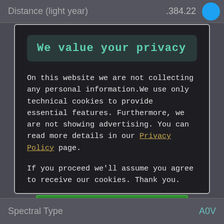Distance (light year)   .384.22
We value your privacy
On this website we are not collecting any personal information.We use only technical cookies to provide essential features. Furthermore, we are not showing advertising. You can read more details in our Privacy Policy page.
If you proceed we'll assume you agree to receive our cookies. Thank you.
Proceed to TheSkyLive.com
Spectral Type   A0V